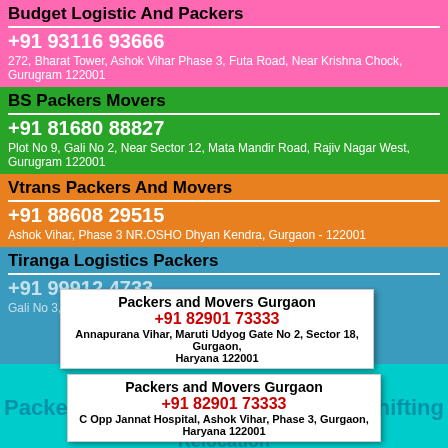Budget Logistic And Packers
+91 93116 93666
272, Bharat Tower, Ashok Vihar Phase 3, Futa Road, Near Krishna Chock, Gurugram 122001
BS Packers Movers
+91 81680 88827
Plot No 9, Gali No 2, Near Sector 12, Mata Mandir Road, Rajiv Nagar West, Gurugram 122001
Vtrans Packers And Movers
+91 88608 29515
Ashok Vihar, Phase 3 NR.OSHO Dhyan Kendra, Gurgaon - 122001
Tiranga Logistics Packers
+91 99912 4733
Gali No 3, Dharam Colony, Palam Vihar, Gurgaon, Haryana
Packers and Movers Gurgaon
+91 82901 73333
Annapurana Vihar, Maruti Udyog Gate No 2, Sector 18, Gurgaon, Haryana 122001
Packers and Movers Gurgaon
+91 82901 73333
C Opp Jannat Hospital, Ashok Vihar, Phase 3, Gurgaon, Haryana 122001
Since 2000, Packers And Movers Sonipat has been a first class